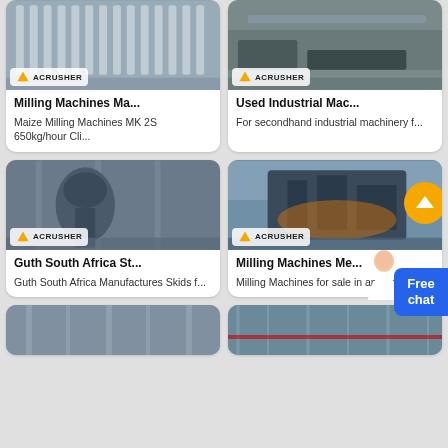[Figure (photo): Milling machine with parallel steel bars/gratings, ACRUSHER branded image]
Milling Machines Ma...
Maize Milling Machines MK 2S 650kg/hour Cli...
[Figure (photo): Used industrial machinery on a platform outdoors, ACRUSHER branded image]
Used Industrial Mac...
For secondhand industrial machinery f...
[Figure (photo): Large industrial crusher/mill inside factory building, ACRUSHER branded image]
Guth South Africa St...
Guth South Africa Manufactures Skids f...
[Figure (photo): Heavy industrial milling machine in large warehouse, ACRUSHER branded image]
Milling Machines Me...
Milling Machines for sale in and around...
[Figure (photo): Industrial machinery interior partial view]
[Figure (photo): Industrial machinery interior partial view with pipes]